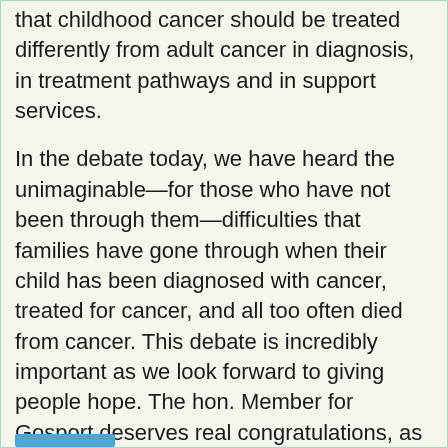that childhood cancer should be treated differently from adult cancer in diagnosis, in treatment pathways and in support services.
In the debate today, we have heard the unimaginable—for those who have not been through them—difficulties that families have gone through when their child has been diagnosed with cancer, treated for cancer, and all too often died from cancer. This debate is incredibly important as we look forward to giving people hope. The hon. Member for Gosport deserves real congratulations, as does everyone who has worked to bring this crucial issue to the House today, and we have seen the unity for a better future for all those diagnosed with childhood cancer and for their families.
⊙ 16:26